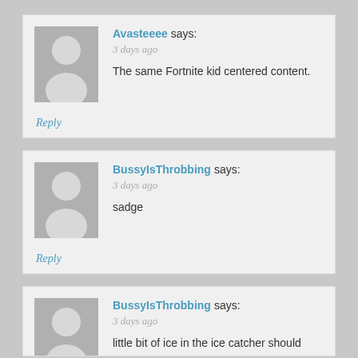Avasteeee says: 3 days ago
The same Fortnite kid centered content.
Reply
BussyIsThrobbing says: 3 days ago
sadge
Reply
BussyIsThrobbing says: 3 days ago
little bit of ice in the ice catcher should ease that burn